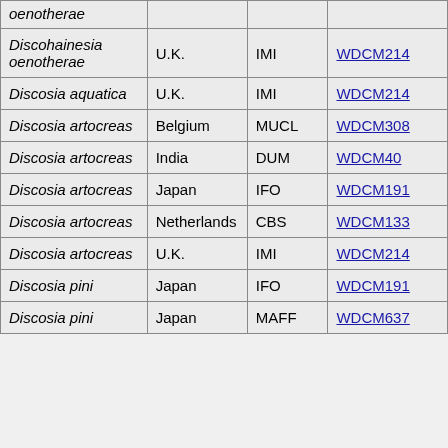| oenotherae |  |  |  |
| Discohainesia oenotherae | U.K. | IMI | WDCM214 |
| Discosia aquatica | U.K. | IMI | WDCM214 |
| Discosia artocreas | Belgium | MUCL | WDCM308 |
| Discosia artocreas | India | DUM | WDCM40 |
| Discosia artocreas | Japan | IFO | WDCM191 |
| Discosia artocreas | Netherlands | CBS | WDCM133 |
| Discosia artocreas | U.K. | IMI | WDCM214 |
| Discosia pini | Japan | IFO | WDCM191 |
| Discosia pini | Japan | MAFF | WDCM637 |